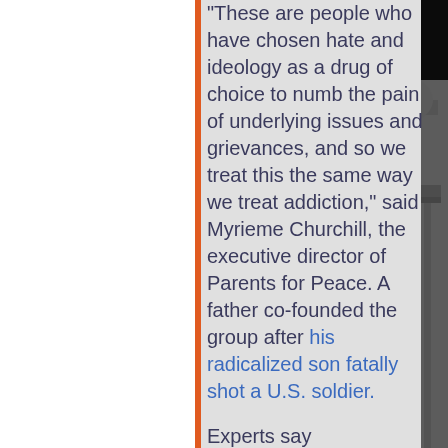“These are people who have chosen hate and ideology as a drug of choice to numb the pain of underlying issues and grievances, and so we treat this the same way we treat addiction,” said Myrieme Churchill, the executive director of Parents for Peace. A father co-founded the group after his radicalized son fatally shot a U.S. soldier.
Experts say deradicalization can be a long and winding
[Figure (photo): Black and white photo of the U.S. Capitol building dome and columns, visible on the right side of the page]